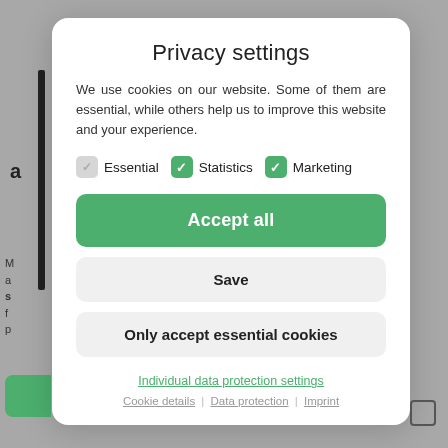Privacy settings
We use cookies on our website. Some of them are essential, while others help us to improve this website and your experience.
Essential (checked, gray) | Statistics (checked, green) | Marketing (checked, green)
Accept all
Save
Only accept essential cookies
Individual data protection settings
Cookie details | Data protection | Imprint